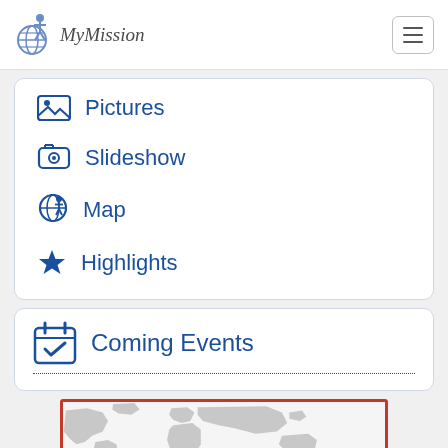MyMission
Pictures
Slideshow
Map
Highlights
Coming Events
[Figure (map): World map graphic shown at bottom of page, partially visible with red border]